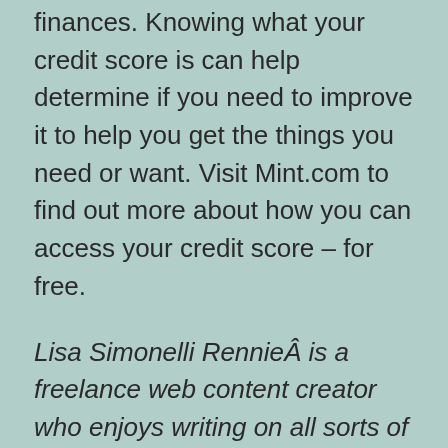finances. Knowing what your credit score is can help determine if you need to improve it to help you get the things you need or want. Visit Mint.com to find out more about how you can access your credit score – for free.
Lisa Simonelli Rennie  is a freelance web content creator who enjoys writing on all sorts of topics, including personal finance, investing in stocks, mortgages, real estate investments, and anything else to do with the world of economics.
The post What's a Good Credit Score?